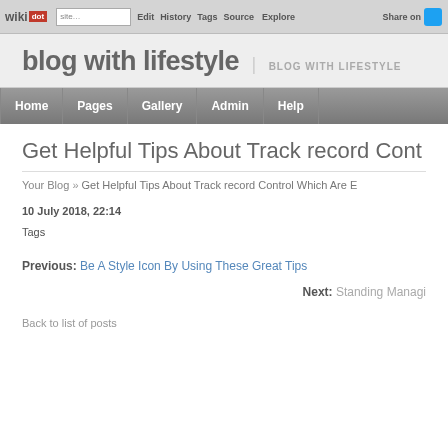wikidot | site Edit History Tags Source Explore Share on [twitter]
blog with lifestyle | BLOG WITH LIFESTYLE
Home Pages Gallery Admin Help
Get Helpful Tips About Track record Cont…
Your Blog » Get Helpful Tips About Track record Control Which Are E
10 July 2018, 22:14
Tags
Previous: Be A Style Icon By Using These Great Tips
Next: Standing Managi…
Back to list of posts